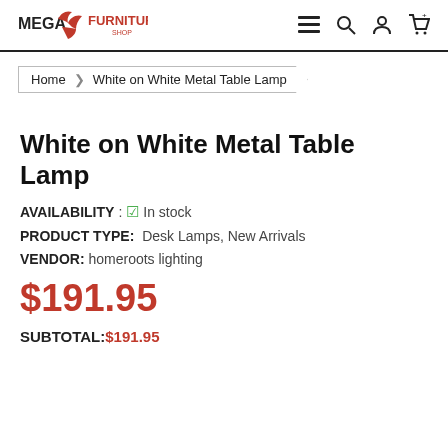Mega Furniture Shop — navigation header with menu, search, account, and cart icons
Home > White on White Metal Table Lamp
White on White Metal Table Lamp
AVAILABILITY : ✓ In stock
PRODUCT TYPE:  Desk Lamps, New Arrivals
VENDOR:  homeroots lighting
$191.95
SUBTOTAL: $191.95